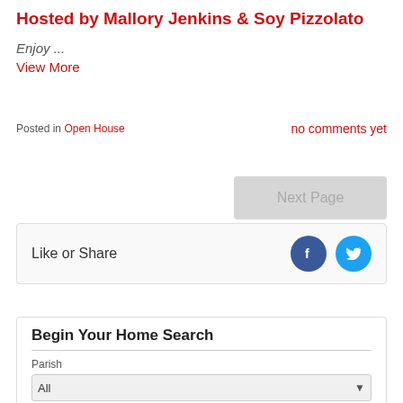Hosted by Mallory Jenkins & Soy Pizzolato
Enjoy ...
View More
Posted in Open House   no comments yet
Next Page
Like or Share
Begin Your Home Search
Parish
All
City